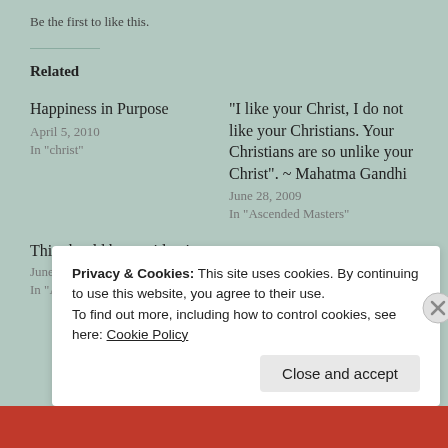Be the first to like this.
Related
Happiness in Purpose
April 5, 2010
In "christ"
“I like your Christ, I do not like your Christians. Your Christians are so unlike your Christ”. ~ Mahatma Gandhi
June 28, 2009
In "Ascended Masters"
This should be our identity.
June 30, 2009
In "Ascended Masters"
Privacy & Cookies: This site uses cookies. By continuing to use this website, you agree to their use.
To find out more, including how to control cookies, see here: Cookie Policy